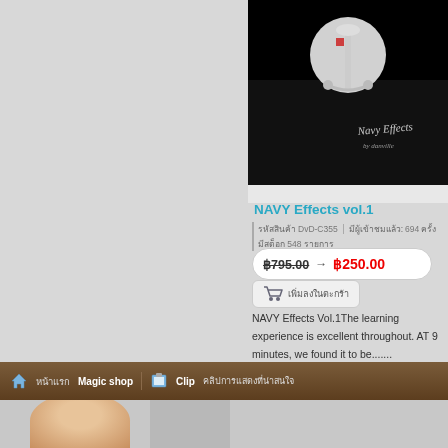[Figure (photo): Product image of NAVY Effects vol.1 DVD - dark background with anchor/nautical design and stylized text 'Navy Effects']
NAVY Effects vol.1
รหัสสินค้า DvD-C355 | มีผู้เข้าชมแล้ว: 694 ครั้ง มีสต็อก 548 รายการ
฿795.00 → ฿250.00
เพิ่มลงในตะกร้า
NAVY Effects Vol.1The learning experience is excellent throughout. AT 9 minutes, we found it to be.......
อ่านต่อ...
1 2 3 4 ... 6 7 >
หน้าแรก Magic shop   Clip คลิปการแสดงที่น่าสนใจ